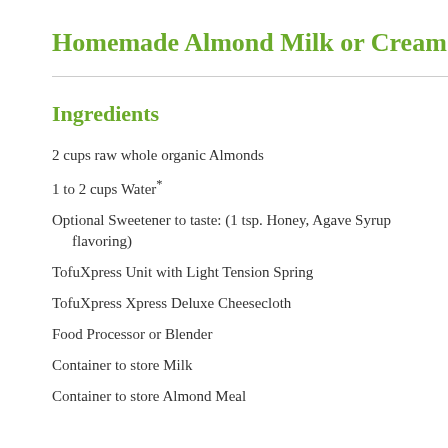Homemade Almond Milk or Cream
Ingredients
2 cups raw whole organic Almonds
1 to 2 cups Water*
Optional Sweetener to taste: (1 tsp. Honey, Agave Syrup flavoring)
TofuXpress Unit with Light Tension Spring
TofuXpress Xpress Deluxe Cheesecloth
Food Processor or Blender
Container to store Milk
Container to store Almond Meal